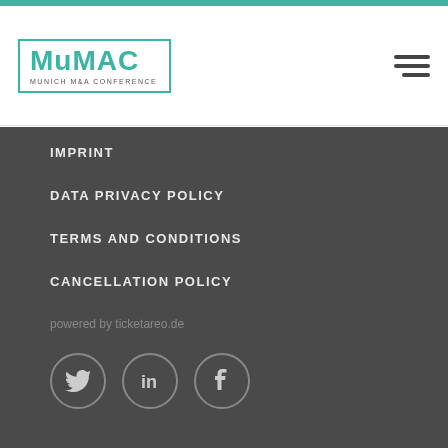[Figure (logo): MuMAC Munich M&A Conference logo with teal border and text]
IMPRINT
DATA PRIVACY POLICY
TERMS AND CONDITIONS
CANCELLATION POLICY
powered by ticketareo.de
[Figure (illustration): Social media icons: Twitter, LinkedIn, Facebook in circular outlines]